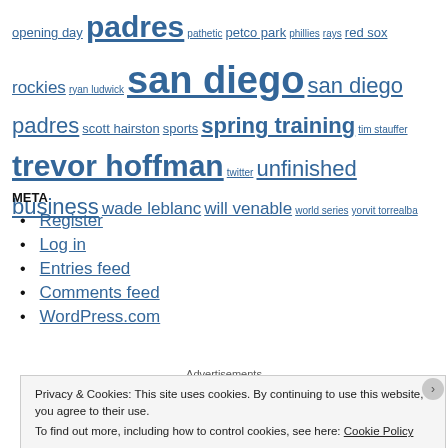opening day padres pathetic petco park phillies rays red sox rockies ryan ludwick san diego san diego padres scott hairston sports spring training tim stauffer trevor hoffman twitter unfinished business wade leblanc will venable world series yorvit torrealba
META
Register
Log in
Entries feed
Comments feed
WordPress.com
Advertisements
Privacy & Cookies: This site uses cookies. By continuing to use this website, you agree to their use. To find out more, including how to control cookies, see here: Cookie Policy Close and accept